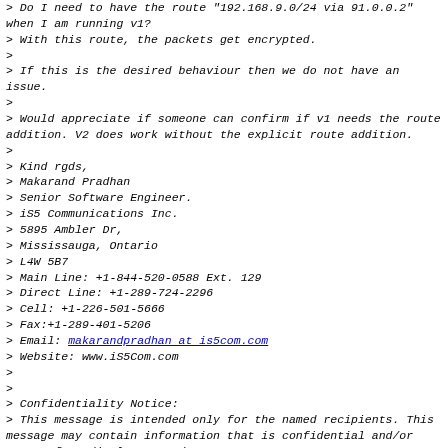> Do I need to have the route "192.168.9.0/24 via 91.0.0.2" when I am running v1?
> With this route, the packets get encrypted.
>
> If this is the desired behaviour then we do not have an issue.
>
> Would appreciate if someone can confirm if v1 needs the route addition. V2 does work without the explicit route addition.
>
> Kind rgds,
> Makarand Pradhan
> Senior Software Engineer.
> iS5 Communications Inc.
> 5895 Ambler Dr,
> Mississauga, Ontario
> L4W 5B7
> Main Line: +1-844-520-0588 Ext. 129
> Direct Line: +1-289-724-2296
> Cell: +1-226-501-5666
> Fax:+1-289-401-5206
> Email: makarandpradhan at is5com.com
> Website: www.iS5Com.com
>
>
> Confidentiality Notice:
> This message is intended only for the named recipients. This message may contain information that is confidential and/or exempt from disclosure under